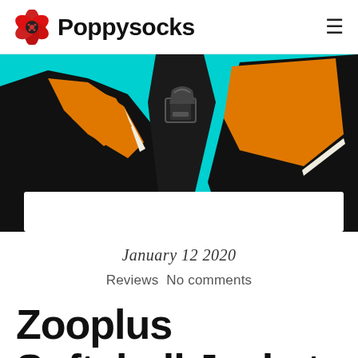Poppysocks
[Figure (photo): Close-up photo of an orange and black dog softshell jacket/coat on a cyan/turquoise background. The jacket features black edging, orange main panels, and a white trim line. A harness handle or clip is visible at the top center.]
January 12 2020
Reviews  No comments
Zooplus Softshell Jacket